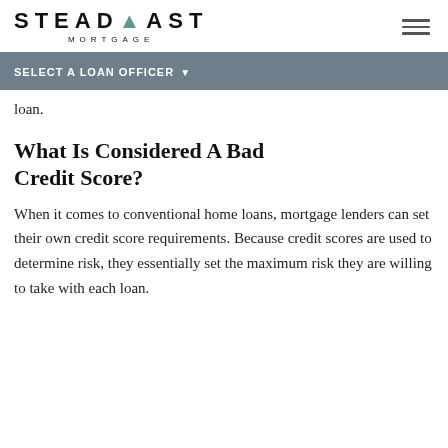[Figure (logo): Steadfast Mortgage logo with stylized arrow in the word STEADFAST and MORTGAGE subtitle below]
SELECT A LOAN OFFICER
loan.
What Is Considered A Bad Credit Score?
When it comes to conventional home loans, mortgage lenders can set their own credit score requirements. Because credit scores are used to determine risk, they essentially set the maximum risk they are willing to take with each loan.